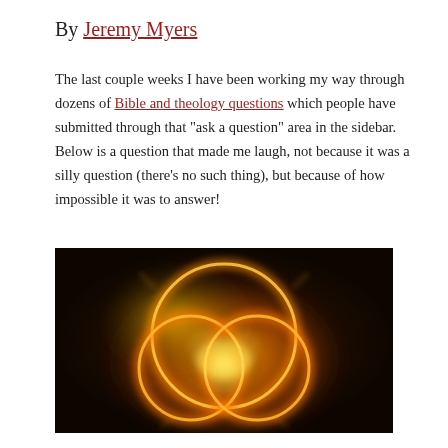By Jeremy Myers
The last couple weeks I have been working my way through dozens of Bible and theology questions which people have submitted through that “ask a question” area in the sidebar. Below is a question that made me laugh, not because it was a silly question (there’s no such thing), but because of how impossible it was to answer!
[Figure (illustration): Glowing golden triquetra or trinity symbol made of three interlocking circles on a dark background, radiating warm orange and yellow light]
The reader essentially asked me to define the Trinity…